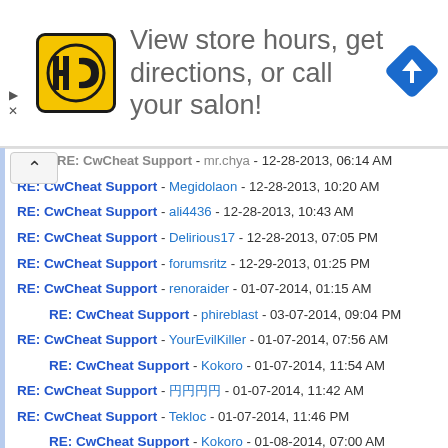[Figure (other): Advertisement banner: HC logo (yellow/black), text 'View store hours, get directions, or call your salon!', blue navigation diamond icon. Small arrow controls on left side.]
RE: CwCheat Support - mr.chya - 12-28-2013, 06:14 AM (partial, top-clipped)
RE: CwCheat Support - Megidolaon - 12-28-2013, 10:20 AM
RE: CwCheat Support - ali4436 - 12-28-2013, 10:43 AM
RE: CwCheat Support - Delirious17 - 12-28-2013, 07:05 PM
RE: CwCheat Support - forumsritz - 12-29-2013, 01:25 PM
RE: CwCheat Support - renoraider - 01-07-2014, 01:15 AM
RE: CwCheat Support - phireblast - 03-07-2014, 09:04 PM (indented)
RE: CwCheat Support - YourEvilKiller - 01-07-2014, 07:56 AM
RE: CwCheat Support - Kokoro - 01-07-2014, 11:54 AM (indented)
RE: CwCheat Support - 円円円円 - 01-07-2014, 11:42 AM
RE: CwCheat Support - Tekloc - 01-07-2014, 11:46 PM
RE: CwCheat Support - Kokoro - 01-08-2014, 07:00 AM (indented)
RE: CwCheat Support - ReZus1408 - 01-09-2014, 08:30 PM
RE: CwCheat Support - vnctdj - 01-13-2014, 09:51 PM
RE: CwCheat Support - Jonhx - 01-17-2014, 03:25 PM
RE: CwCheat Support - Ado13 - 01-17-2014, 04:03 PM (indented)
RE: CwCheat Support - engkus - 01-17-2014, 04:19 PM
RE: CwCheat Support - RoxisRuviozen - 01-18-2014, 11:02 AM
RE: CwCheat Support - engkus - 01-18-2014, 12:29 PM (indented)
RE: CwCheat Support - Talexius - 01-21-2014, 02:42 AM